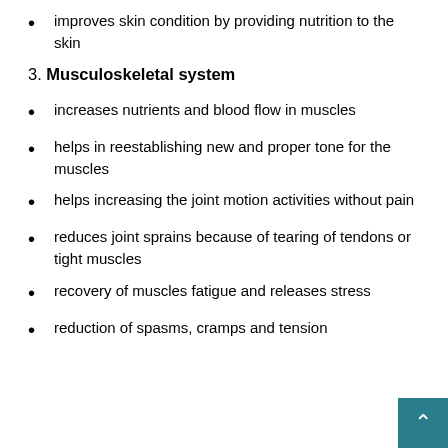improves skin condition by providing nutrition to the skin
3. Musculoskeletal system
increases nutrients and blood flow in muscles
helps in reestablishing new and proper tone for the muscles
helps increasing the joint motion activities without pain
reduces joint sprains because of tearing of tendons or tight muscles
recovery of muscles fatigue and releases stress
reduction of spasms, cramps and tension